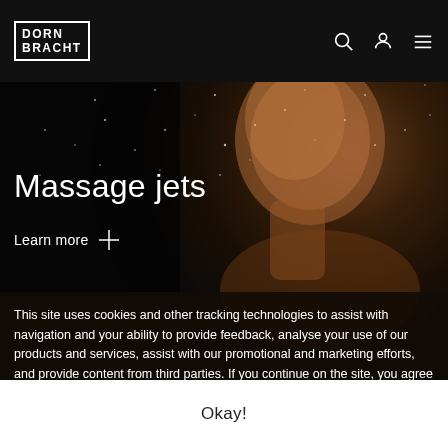DORN BRACHT
[Figure (photo): Man with water spray/droplets hitting his face and neck from the side, dark background with water mist particles visible]
Massage jets
Learn more +
This site uses cookies and other tracking technologies to assist with navigation and your ability to provide feedback, analyse your use of our products and services, assist with our promotional and marketing efforts, and provide content from third parties. If you continue on the site, you agree to the use of cookies. Cookies and privacy statement
Okay!